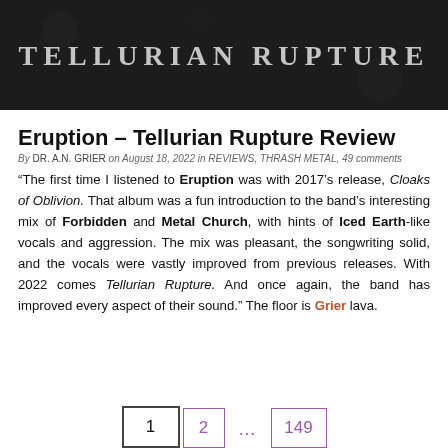[Figure (illustration): Dark banner with text 'TELLURIAN RUPTURE' in large spaced serif letters on a dark background]
Eruption – Tellurian Rupture Review
By DR. A.N. GRIER on August 18, 2022 in REVIEWS, THRASH METAL, 49 comments
“The first time I listened to Eruption was with 2017’s release, Cloaks of Oblivion. That album was a fun introduction to the band’s interesting mix of Forbidden and Metal Church, with hints of Iced Earth-like vocals and aggression. The mix was pleasant, the songwriting solid, and the vocals were vastly improved from previous releases. With 2022 comes Tellurian Rupture. And once again, the band has improved every aspect of their sound.” The floor is Grier lava.
1  2  ...  149